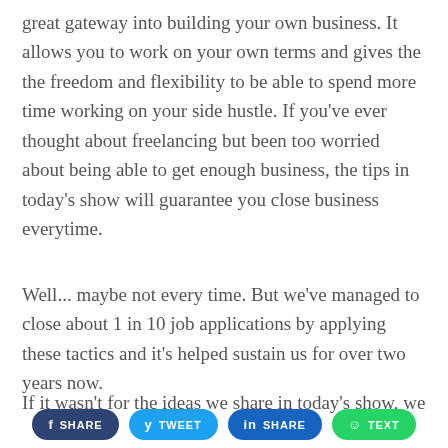great gateway into building your own business. It allows you to work on your own terms and gives the the freedom and flexibility to be able to spend more time working on your side hustle. If you've ever thought about freelancing but been too worried about being able to get enough business, the tips in today's show will guarantee you close business everytime.
Well... maybe not every time. But we've managed to close about 1 in 10 job applications by applying these tactics and it's helped sustain us for over two years now.
If it wasn't for the ideas we share in today's show, we
[Figure (other): Social share buttons: Facebook SHARE, Twitter TWEET, LinkedIn SHARE, WhatsApp TEXT]